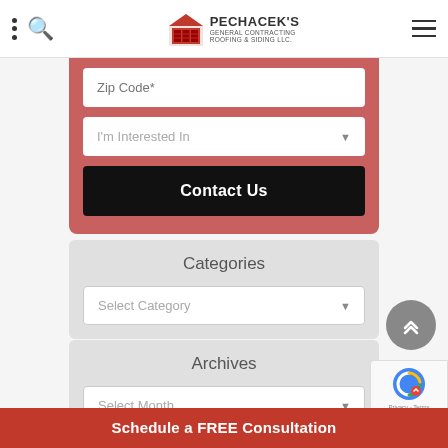[Figure (logo): Pechacek's General Contracting Roofing & Siding LLC logo with red building icon]
Zip Code*
I'm Interested In
Contact Us
Categories
Select Category
Archives
Select Month
Schedule a FREE Consultation